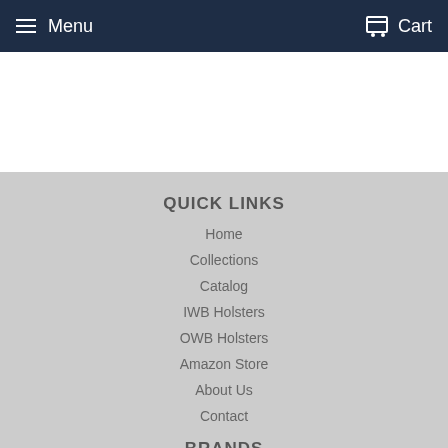Menu  Cart
QUICK LINKS
Home
Collections
Catalog
IWB Holsters
OWB Holsters
Amazon Store
About Us
Contact
BRANDS